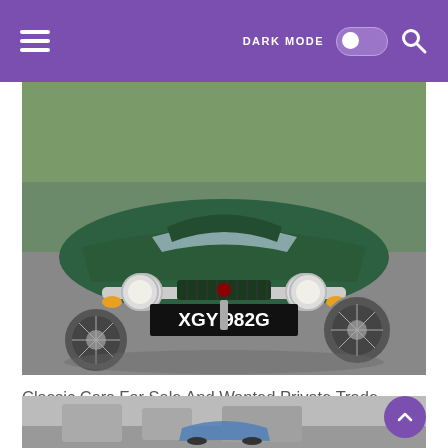DARK MODE  [toggle]  [search]
[Figure (photo): Front view of a classic green MG sports car with registration plate XGY 982G, parked on a road with grass in background]
Classic Cars For Sale And Wanted Private Trade Vintage Veteran Used Cars On Car And Classic Uk Classic Cars Cars For Sale Used Cars
[Figure (photo): Partial view of a second classic car in black and white, partially visible at the bottom of the page]